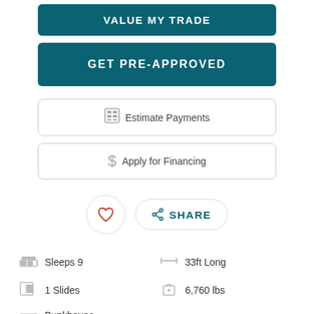VALUE MY TRADE
GET PRE-APPROVED
Estimate Payments
Apply for Financing
SHARE
Sleeps 9
33ft Long
1 Slides
6,760 lbs
Bunkhouse
Outdoor Kitchen